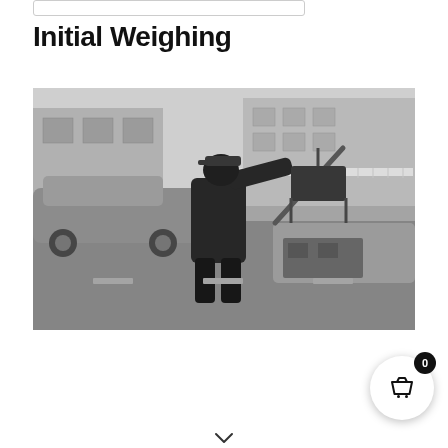Initial Weighing
[Figure (photo): Black and white photograph of a person in a cap and dark jacket leaning into the open trunk of a car, on a residential street with another car and houses visible in the background.]